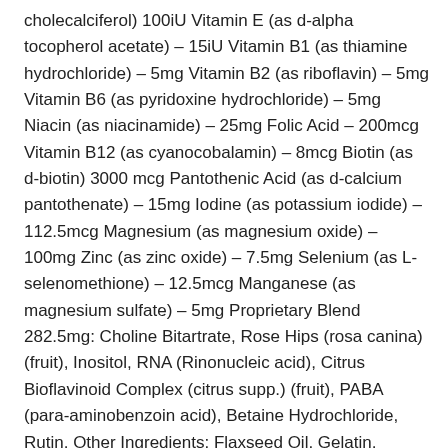cholecalciferol) 100iU Vitamin E (as d-alpha tocopherol acetate) – 15iU Vitamin B1 (as thiamine hydrochloride) – 5mg Vitamin B2 (as riboflavin) – 5mg Vitamin B6 (as pyridoxine hydrochloride) – 5mg Niacin (as niacinamide) – 25mg Folic Acid – 200mcg Vitamin B12 (as cyanocobalamin) – 8mcg Biotin (as d-biotin) 3000 mcg Pantothenic Acid (as d-calcium pantothenate) – 15mg Iodine (as potassium iodide) – 112.5mcg Magnesium (as magnesium oxide) – 100mg Zinc (as zinc oxide) – 7.5mg Selenium (as L-selenomethione) – 12.5mcg Manganese (as magnesium sulfate) – 5mg Proprietary Blend 282.5mg: Choline Bitartrate, Rose Hips (rosa canina) (fruit), Inositol, RNA (Rinonucleic acid), Citrus Bioflavinoid Complex (citrus supp.) (fruit), PABA (para-aminobenzoin acid), Betaine Hydrochloride, Rutin. Other Ingredients: Flaxseed Oil, Gelatin, Glycerin, Water, Beeswax, Sunflower Lecithin. Directions: